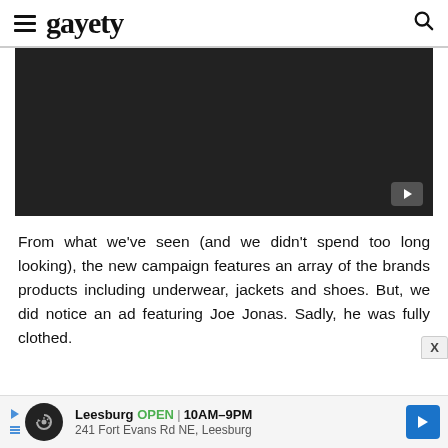gayety
[Figure (screenshot): Dark video player embed with a YouTube play button icon in the bottom right corner]
From what we've seen (and we didn't spend too long looking), the new campaign features an array of the brands products including underwear, jackets and shoes. But, we did notice an ad featuring Joe Jonas. Sadly, he was fully clothed.
[Figure (infographic): Advertisement bar showing Leesburg store info: OPEN 10AM-9PM, 241 Fort Evans Rd NE, Leesburg]